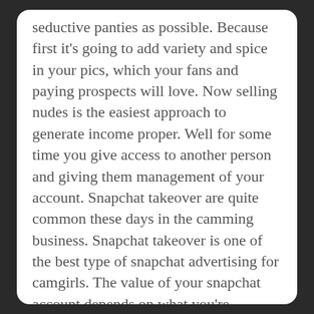seductive panties as possible. Because first it's going to add variety and spice in your pics, which your fans and paying prospects will love. Now selling nudes is the easiest approach to generate income proper. Well for some time you give access to another person and giving them management of your account. Snapchat takeover are quite common these days in the camming business. Snapchat takeover is one of the best type of snapchat advertising for camgirls. The value of your snapchat account depends on what you're charging and in addition on teh network where you are listing your snapchat account for sale.